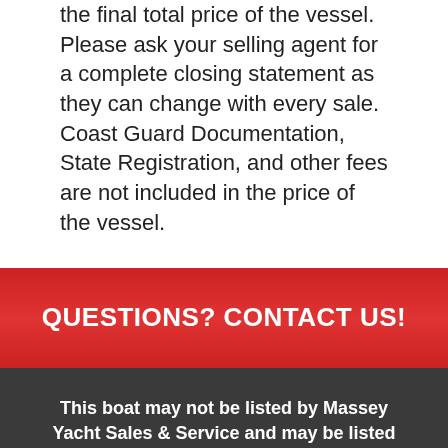the final total price of the vessel. Please ask your selling agent for a complete closing statement as they can change with every sale. Coast Guard Documentation, State Registration, and other fees are not included in the price of the vessel.
QUESTIONS? CONTACT US!
This boat may not be listed by Massey Yacht Sales & Service and may be listed by another brokerage company. This listing is made available as a courtesy to those visiting our website.
The advertising broker is merely providing this